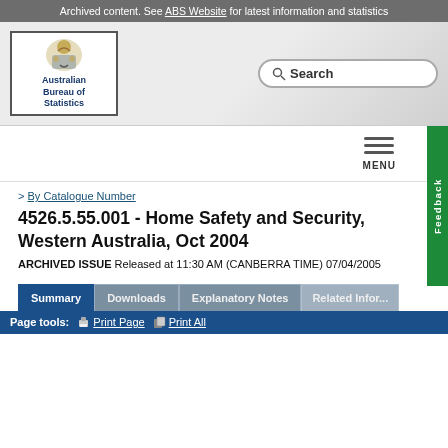Archived content. See ABS Website for latest information and statistics
[Figure (logo): Australian Bureau of Statistics logo with coat of arms crest and text]
> By Catalogue Number
4526.5.55.001 - Home Safety and Security, Western Australia, Oct 2004
ARCHIVED ISSUE Released at 11:30 AM (CANBERRA TIME) 07/04/2005
Summary | Downloads | Explanatory Notes | Related Information
Page tools: Print Page   Print All